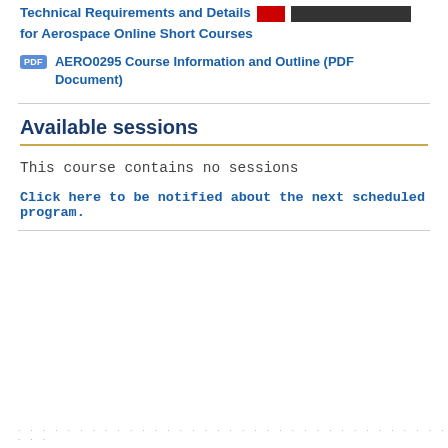Technical Requirements and Details for Aerospace Online Short Courses
AERO0295 Course Information and Outline (PDF Document)
Available sessions
This course contains no sessions
Click here to be notified about the next scheduled program.